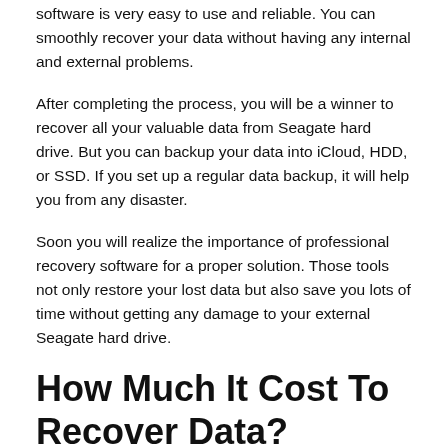software is very easy to use and reliable. You can smoothly recover your data without having any internal and external problems.
After completing the process, you will be a winner to recover all your valuable data from Seagate hard drive. But you can backup your data into iCloud, HDD, or SSD. If you set up a regular data backup, it will help you from any disaster.
Soon you will realize the importance of professional recovery software for a proper solution. Those tools not only restore your lost data but also save you lots of time without getting any damage to your external Seagate hard drive.
How Much It Cost To Recover Data?